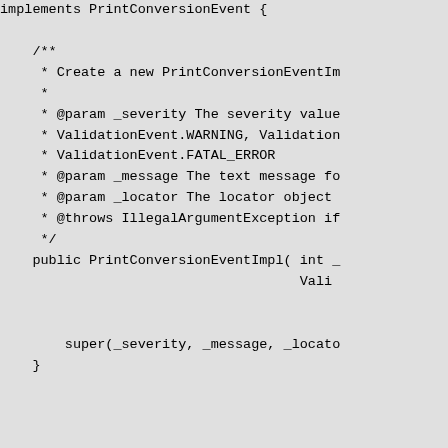implements PrintConversionEvent {

    /**
     * Create a new PrintConversionEventIm
     *
     * @param _severity The severity value
     * ValidationEvent.WARNING, Validation
     * ValidationEvent.FATAL_ERROR
     * @param _message The text message fo
     * @param _locator The locator object
     * @throws IllegalArgumentException if
     */
    public PrintConversionEventImpl( int _
                                     Vali


        super(_severity, _message, _locato
    }